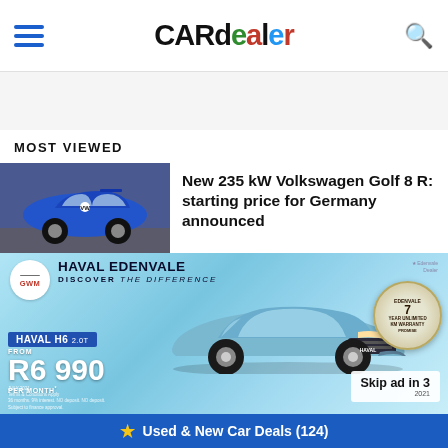CARdealer
MOST VIEWED
New 235 kW Volkswagen Golf 8 R: starting price for Germany announced
[Figure (infographic): GWM Haval Edenvale advertisement banner showing Haval H6 2.0T SUV in blue, priced from R6 990 per month, with 7 year unlimited KM warranty badge and Skip ad in 3 button]
Used & New Car Deals (124)